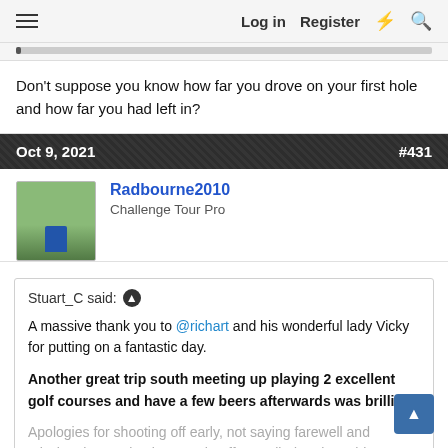≡  Log in  Register  ⚡  🔍
Don't suppose you know how far you drove on your first hole and how far you had left in?
Oct 9, 2021  #431
[Figure (photo): User avatar showing a golfer figure on a green background]
Radbourne2010
Challenge Tour Pro
Stuart_C said: ↑

A massive thank you to @richart and his wonderful lady Vicky for putting on a fantastic day.

Another great trip south meeting up playing 2 excellent golf courses and have a few beers afterwards was brilliant.

Apologies for shooting off early, not saying farewell and missing the auction but my chauffeur pulled rank on this one. We left at 2pm and got home...

Click to expand...